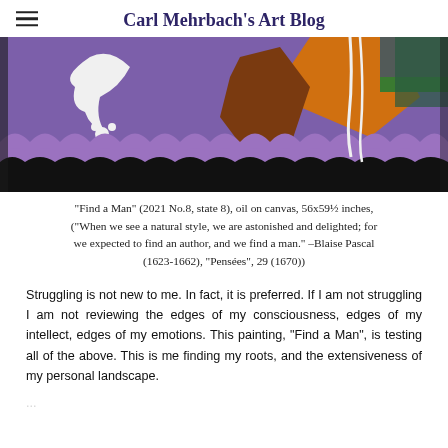Carl Mehrbach's Art Blog
[Figure (photo): Partial view of a colorful oil painting 'Find a Man' showing abstract figures with purple, orange, brown, white, and green forms against a purple background with a black lower section.]
"Find a Man" (2021 No.8, state 8), oil on canvas, 56x59½ inches, ("When we see a natural style, we are astonished and delighted; for we expected to find an author, and we find a man." –Blaise Pascal (1623-1662), "Pensées", 29 (1670))
Struggling is not new to me. In fact, it is preferred. If I am not struggling I am not reviewing the edges of my consciousness, edges of my intellect, edges of my emotions. This painting, "Find a Man", is testing all of the above. This is me finding my roots, and the extensiveness of my personal landscape.
...